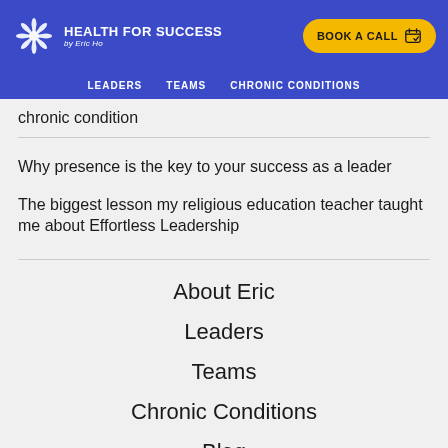[Figure (logo): Health For Success by Eric Ho logo with decorative snowflake/flower icon, white text on blue background, and a yellow 'BOOK A CALL' button with calendar icon]
LEADERS   TEAMS   CHRONIC CONDITIONS
chronic condition
Why presence is the key to your success as a leader
The biggest lesson my religious education teacher taught me about Effortless Leadership
About Eric
Leaders
Teams
Chronic Conditions
Blog